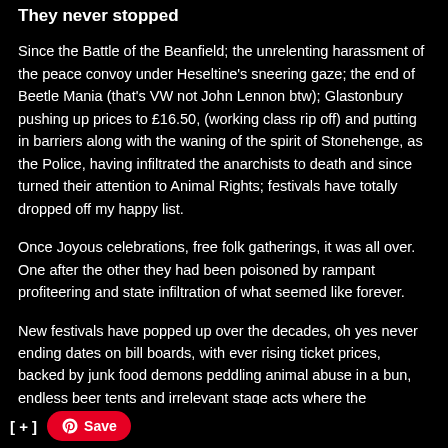They never stopped
Since the Battle of the Beanfield; the unrelenting harassment of the peace convoy under Heseltine's sneering gaze; the end of Beetle Mania (that's VW not John Lennon btw); Glastonbury pushing up prices to £16.50, (working class rip off) and putting in barriers along with the waning of the spirit of Stonehenge, as the Police, having infiltrated the anarchists to death and since turned their attention to Animal Rights; festivals have totally dropped off my happy list.
Once Joyous celebrations, free folk gatherings, it was all over. One after the other they had been poisoned by rampant profiteering and state infiltration of what seemed like forever.
New festivals have popped up over the decades, oh yes never ending dates on bill boards, with ever rising ticket prices, backed by junk food demons peddling animal abuse in a bun, endless beer tents and irrelevant stage acts where the performers have nothing to say of any value whatsoever, are role models for exploitation objectification and violence, and obviously the endless cascading “profits before people”
[ + ]  Save